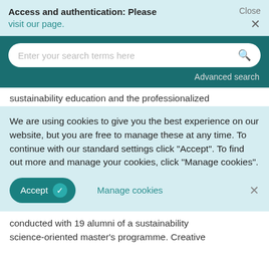Access and authentication: Please visit our page.
[Figure (screenshot): Search bar with placeholder text 'Enter your search terms here' and a magnifying glass icon, on a dark teal background with 'Advanced search' link below.]
sustainability education and the professionalized
We are using cookies to give you the best experience on our website, but you are free to manage these at any time. To continue with our standard settings click "Accept". To find out more and manage your cookies, click "Manage cookies".
conducted with 19 alumni of a sustainability science-oriented master's programme. Creative